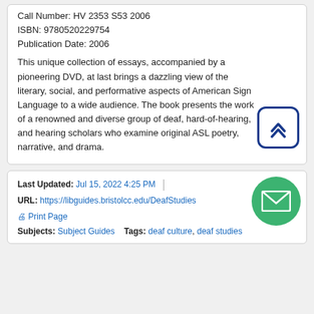Call Number: HV 2353 S53 2006
ISBN: 9780520229754
Publication Date: 2006
This unique collection of essays, accompanied by a pioneering DVD, at last brings a dazzling view of the literary, social, and performative aspects of American Sign Language to a wide audience. The book presents the work of a renowned and diverse group of deaf, hard-of-hearing, and hearing scholars who examine original ASL poetry, narrative, and drama.
Last Updated: Jul 15, 2022 4:25 PM
URL: https://libguides.bristolcc.edu/DeafStudies
Print Page
Subjects: Subject Guides   Tags: deaf culture, deaf studies